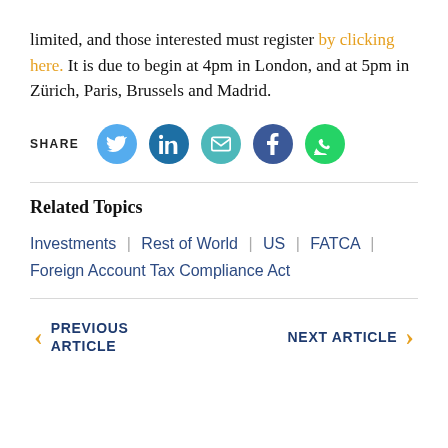limited, and those interested must register by clicking here. It is due to begin at 4pm in London, and at 5pm in Zürich, Paris, Brussels and Madrid.
[Figure (infographic): SHARE row with social media icons: Twitter (light blue), LinkedIn (dark blue), Email (teal), Facebook (navy), WhatsApp (green)]
Related Topics
Investments | Rest of World | US | FATCA | Foreign Account Tax Compliance Act
PREVIOUS ARTICLE
NEXT ARTICLE